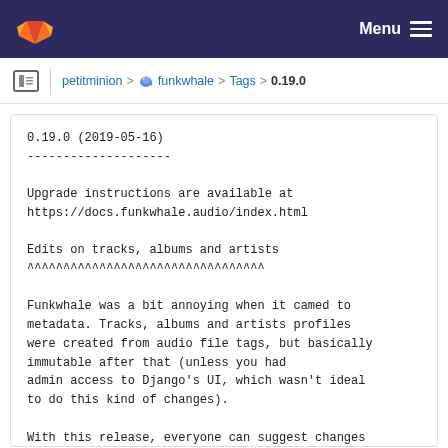Menu
petitminion > funkwhale > Tags > 0.19.0
0.19.0 (2019-05-16)
--------------------

Upgrade instructions are available at
https://docs.funkwhale.audio/index.html

Edits on tracks, albums and artists
^^^^^^^^^^^^^^^^^^^^^^^^^^^^^^^^^

Funkwhale was a bit annoying when it camed to
metadata. Tracks, albums and artists profiles
were created from audio file tags, but basically
immutable after that (unless you had
admin access to Django's UI, which wasn't ideal
to do this kind of changes).

With this release, everyone can suggest changes